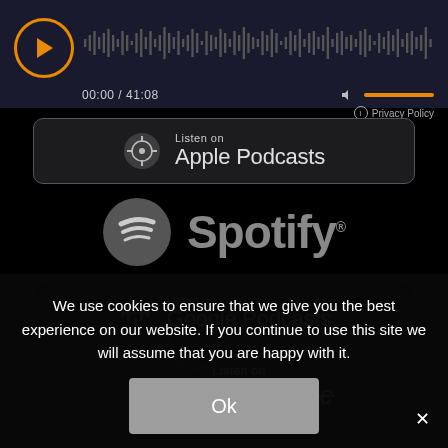[Figure (screenshot): Audio player bar with orange play button, waveform, time display 00:00 / 41:08, volume control with orange bar, and Privacy Policy link]
[Figure (logo): Listen on Apple Podcasts badge with podcast icon]
[Figure (logo): Spotify logo badge with Spotify circle icon]
[Figure (logo): Listen on Google Podcasts badge with Google Podcasts icon]
[Figure (logo): Listen on Amazon Music badge with stylized text]
We use cookies to ensure that we give you the best experience on our website. If you continue to use this site we will assume that you are happy with it.
Ok